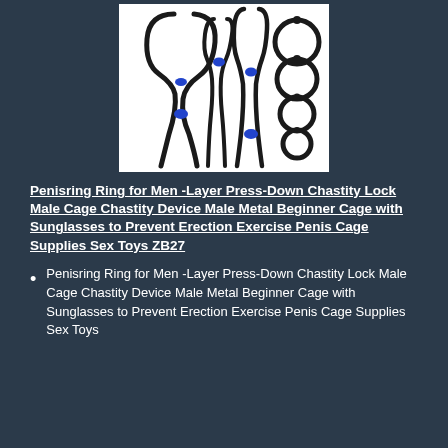[Figure (photo): Product photo showing three black cock ring/lasso devices with blue beads, and a set of stacked metal rings, against a white background.]
Penisring Ring for Men -Layer Press-Down Chastity Lock Male Cage Chastity Device Male Metal Beginner Cage with Sunglasses to Prevent Erection Exercise Penis Cage Supplies Sex Toys ZB27
Penisring Ring for Men -Layer Press-Down Chastity Lock Male Cage Chastity Device Male Metal Beginner Cage with Sunglasses to Prevent Erection Exercise Penis Cage Supplies Sex Toys